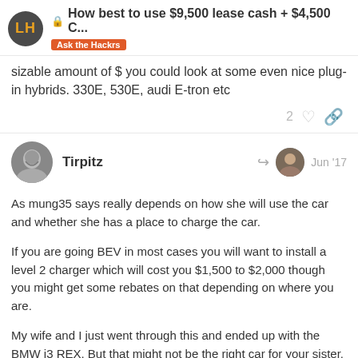How best to use $9,500 lease cash + $4,500 C... | Ask the Hackrs
sizable amount of $ you could look at some even nice plug-in hybrids. 330E, 530E, audi E-tron etc
Tirpitz  Jun '17
As mung35 says really depends on how she will use the car and whether she has a place to charge the car.
If you are going BEV in most cases you will want to install a level 2 charger which will cost you $1,500 to $2,000 though you might get some rebates on that depending on where you are.
My wife and I just went through this and ended up with the BMW i3 REX. But that might not be the right car for your sister. We couldn't do a BEV for various reasons which excluded most of the cars on your list.